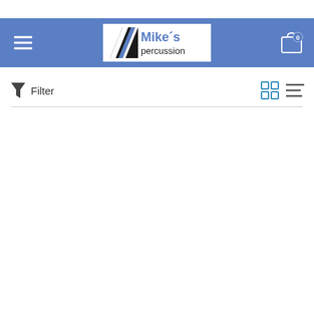Mike's Percussion — website header with navigation and logo
Filter